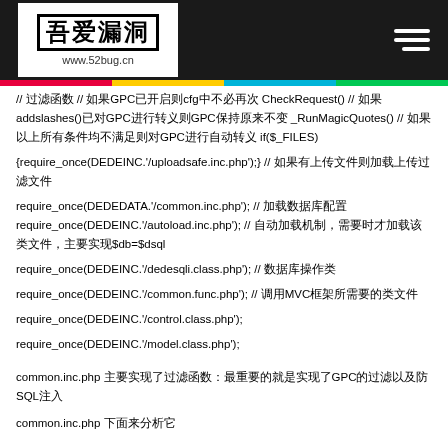吾爱漏洞 www.52bug.cn
// 过滤函数 // 如果GPC已开启则cfg中不必再次 CheckRequest() // 如果 addslashes()已对GPC进行转义则GPC保持原来不变 _RunMagicQuotes() // 如果以上所有条件均不满足则对GPC进行自动转义 if($_FILES) {require_once(DEDEINC.'/uploadsafe.inc.php');} // 如果有上传文件则加载上传过滤文件 require_once(DEDEDATA.'/common.inc.php'); // 加载数据库配置 require_once(DEDEINC.'/autoload.inc.php'); // 自动加载机制，需要时才加载该类文件，主要实现$db=$dsql require_once(DEDEINC.'/dedesqli.class.php'); // 数据库操作类 require_once(DEDEINC.'/common.func.php'); // 调用MVC框架所需要的类文件 require_once(DEDEINC.'/control.class.php'); require_once(DEDEINC.'/model.class.php');
common.inc.php 主要实现了过滤函数：最重要的就是实现了GPC的过滤以及防SQL注入
common.inc.php 下面来分析它